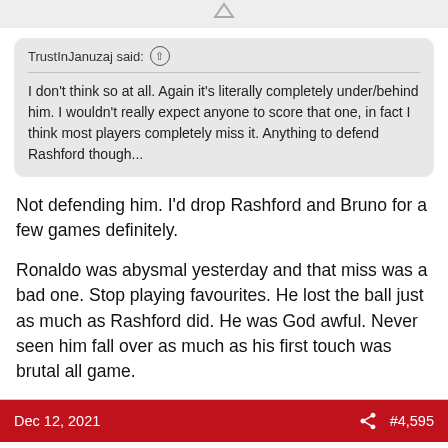TrustInJanuzaj said: ↑ I don't think so at all. Again it's literally completely under/behind him. I wouldn't really expect anyone to score that one, in fact I think most players completely miss it. Anything to defend Rashford though...
Not defending him. I'd drop Rashford and Bruno for a few games definitely.
Ronaldo was abysmal yesterday and that miss was a bad one. Stop playing favourites. He lost the ball just as much as Rashford did. He was God awful. Never seen him fall over as much as his first touch was brutal all game.
Dec 12, 2021  #4,595
Borys